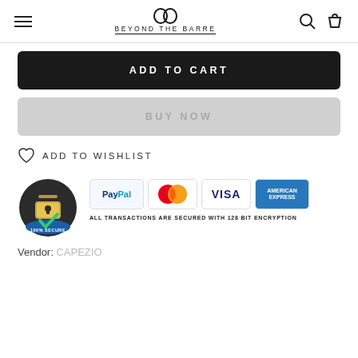Beyond The Barre - navigation header with hamburger menu, logo, search and cart icons
ADD TO CART
BUY NOW
ADD TO WISHLIST
[Figure (infographic): 100% Secure badge with padlock and PayPal, MasterCard, VISA, American Express payment icons. Text: ALL TRANSACTIONS ARE SECURED WITH 128 BIT ENCRYPTION]
Vendor: CAPEZIO